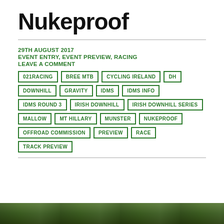Nukeproof
29TH AUGUST 2017
EVENT ENTRY, EVENT PREVIEW, RACING
LEAVE A COMMENT
021RACING
BREE MTB
CYCLING IRELAND
DH
DOWNHILL
GRAVITY
IDMS
IDMS INFO
IDMS ROUND 3
IRISH DOWNHILL
IRISH DOWNHILL SERIES
MALLOW
MT HILLARY
MUNSTER
NUKEPROOF
OFFROAD COMMISSION
PREVIEW
RACE
TRACK PREVIEW
[Figure (photo): Green forest/outdoor photo strip at bottom of page]